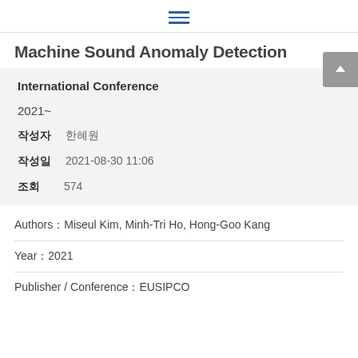≡
Machine Sound Anomaly Detection
| International Conference |  |
| 2021~ |  |
| 작성자 | 한혜원 |
| 작성일 | 2021-08-30 11:06 |
| 조회 | 574 |
Authors：Miseul Kim, Minh-Tri Ho, Hong-Goo Kang
Year：2021
Publisher / Conference：EUSIPCO